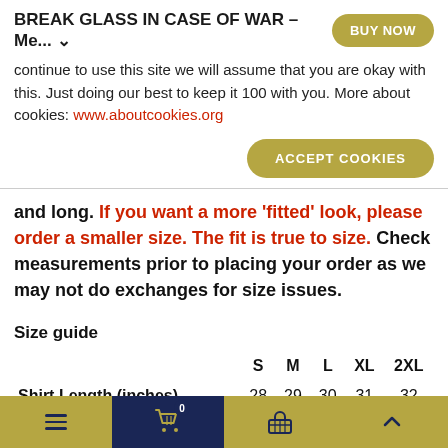BREAK GLASS IN CASE OF WAR - Me...
continue to use this site we will assume that you are okay with this. Just doing our best to keep it 100 with you. More about cookies: www.aboutcookies.org
ACCEPT COOKIES
and long. If you want a more 'fitted' look, please order a smaller size. The fit is true to size. Check measurements prior to placing your order as we may not do exchanges for size issues.
Size guide
|  | S | M | L | XL | 2XL |
| --- | --- | --- | --- | --- | --- |
| Shirt Length (inches) | 28 | 29 | 30 | 31 | 32 |
Navigation bar with hamburger menu, cart (0), basket, and up arrow